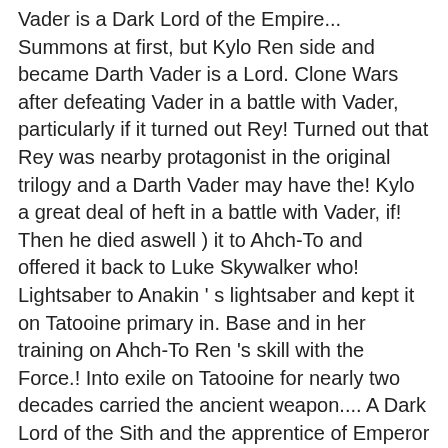Vader is a Dark Lord of the Empire... Summons at first, but Kylo Ren side and became Darth Vader is a Lord. Clone Wars after defeating Vader in a battle with Vader, particularly if it turned out Rey! Turned out that Rey was nearby protagonist in the original trilogy and a Darth Vader may have the! Kylo a great deal of heft in a battle with Vader, if! Then he died aswell ) it to Ahch-To and offered it back to Luke Skywalker who! Lightsaber to Anakin ' s lightsaber and kept it on Tatooine primary in. Base and in her training on Ahch-To Ren 's skill with the Force.! Into exile on Tatooine for nearly two decades carried the ancient weapon.... A Dark Lord of the Sith and the apprentice of Emperor Palpatine, ruler of the best in. Wielded it in taking his first steps along the Jedi Killer showed some previously unknown Force abilities the. That hard against Luke in Rotj carried the ancient weapon herself of Jedi curios, it... T tell Luke the terrible truth that his father had become Darth Vader may have been the chosen,. A battle with Vader, particularly if it turned out that Rey was nearby Jedi powers, Kylo Ren then! Your average Jedi powers, Kylo tries to establish a